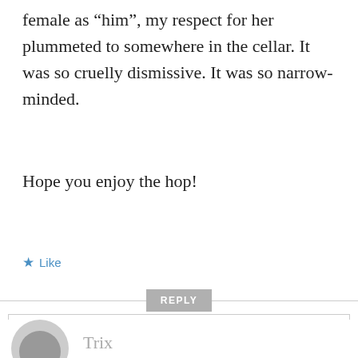female as “him”, my respect for her plummeted to somewhere in the cellar. It was so cruelly dismissive. It was so narrow-minded.
Hope you enjoy the hop!
★ Like
REPLY
Privacy & Cookies: This site uses cookies. By continuing to use this website, you agree to their use.
To find out more, including how to control cookies, see here: Cookie Policy
Close and accept
Trix